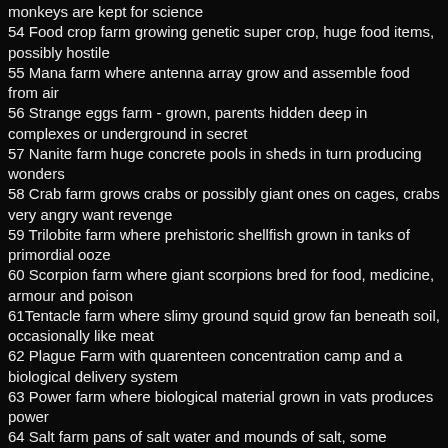monkeys are kept for science
54 Food crop farm growing genetic super crop, huge food items, possibly hostile
55 Mana farm where antenna array grow and assemble food from air
56 Strange eggs farm - grown, parents hidden deep in complexes or underground in secret
57 Nanite farm huge concrete pools in sheds in turn producing wonders
58 Crab farm grows crabs or possibly giant ones on cages, crabs very angry want revenge
59 Trilobite farm where prehistoric shellfish grown in tanks of primordial ooze
60 Scorpion farm where giant scorpions bred for food, medicine, armour and poison
61Tentacle farm where slimy ground squid grow fan beneath soil, occasionally like meat
62 Plague Farm with quarenteen concentration camp and a biological delivery system
63 Power farm where biological material grown in vats produces power
64 Salt farm pans of salt water and mounds of salt, some